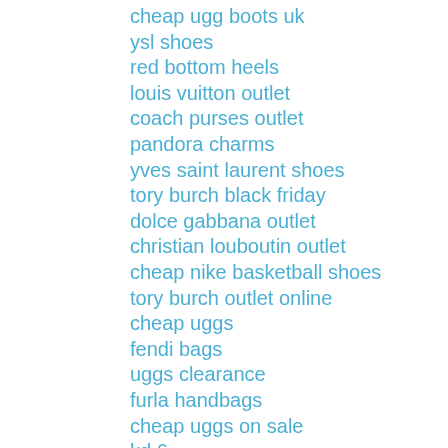cheap ugg boots uk
ysl shoes
red bottom heels
louis vuitton outlet
coach purses outlet
pandora charms
yves saint laurent shoes
tory burch black friday
dolce gabbana outlet
christian louboutin outlet
cheap nike basketball shoes
tory burch outlet online
cheap uggs
fendi bags
uggs clearance
furla handbags
cheap uggs on sale
kd 6
cheap jordans
cheap nike shoes
nike kd 6
pandora jewellery
genuine ugg boots